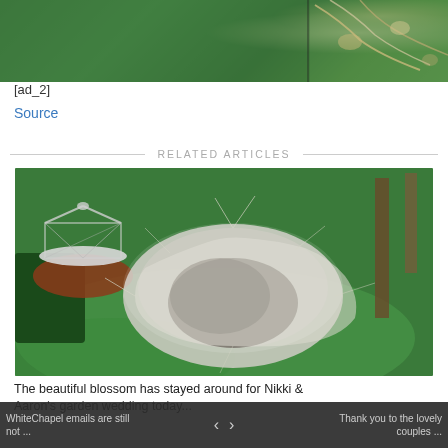[Figure (photo): Top portion of a garden photo showing green foliage and branches with white blossoms against a green hedge background.]
[ad_2]
Source
RELATED ARTICLES
[Figure (photo): Aerial view of a formal garden with a white gazebo/rotunda structure on left, a large white-blossoming bush in the center, green lawn, and dark hedges. Trees visible at right.]
The beautiful blossom has stayed around for Nikki & Aaron's garden wedding today...
WhiteChapel emails are still not ...  ‹  ›  Thank you to the lovely couples ...